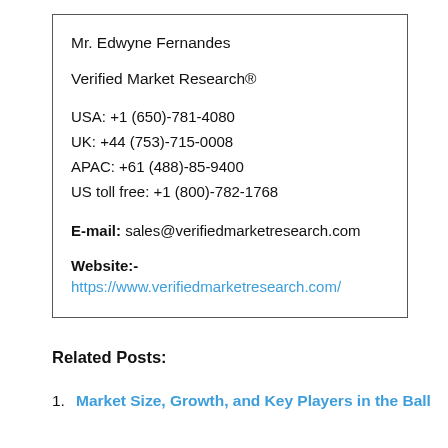Mr. Edwyne Fernandes
Verified Market Research®
USA: +1 (650)-781-4080
UK: +44 (753)-715-0008
APAC: +61 (488)-85-9400
US toll free: +1 (800)-782-1768
E-mail: sales@verifiedmarketresearch.com
Website:-
https://www.verifiedmarketresearch.com/
Related Posts:
Market Size, Growth, and Key Players in the Ball